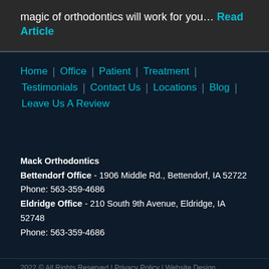magic of orthodontics will work for you… Read Article
Home | Office | Patient | Treatment | Testimonials | Contact Us | Locations | Blog | Leave Us A Review
Mack Orthodontics
Bettendorf Office - 1906 Middle Rd., Bettendorf, IA 52722
Phone: 563-359-4686
Eldridge Office - 210 South 9th Avenue, Eldridge, IA 52748
Phone: 563-359-4686
2022 © All Rights Reserved | Privacy Policy | Website Design